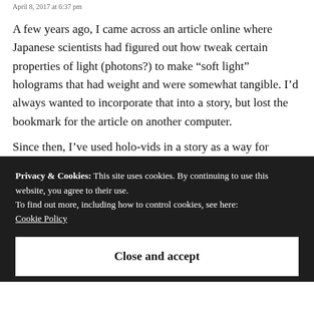April 8, 2017 at 6:37 pm
A few years ago, I came across an article online where Japanese scientists had figured out how tweak certain properties of light (photons?) to make “soft light” holograms that had weight and were somewhat tangible. I’d always wanted to incorporate that into a story, but lost the bookmark for the article on another computer.
Since then, I’ve used holo-vids in a story as a way for
Privacy & Cookies: This site uses cookies. By continuing to use this website, you agree to their use.
To find out more, including how to control cookies, see here:
Cookie Policy
Close and accept